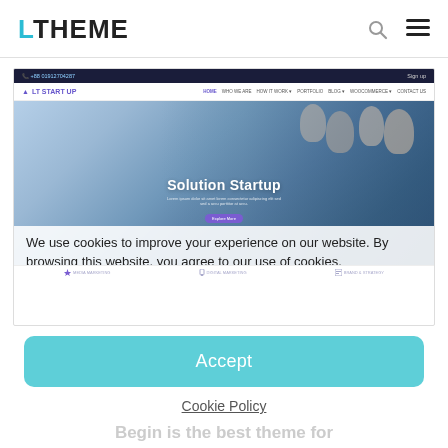LTHEME
[Figure (screenshot): Screenshot of LT Start Up website with hero image showing group of people celebrating, cookie consent overlay with text: We use cookies to improve your experience on our website. By browsing this website, you agree to our use of cookies.]
Accept
Cookie Policy
Begin is the best theme for